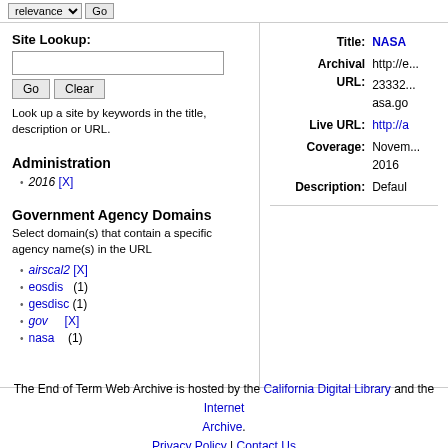relevance ▼  Go
Site Lookup:
Look up a site by keywords in the title, description or URL.
Administration
2016 [X]
Government Agency Domains
Select domain(s) that contain a specific agency name(s) in the URL
airscal2 [X]
eosdis    (1)
gesdisc   (1)
gov       [X]
nasa      (1)
Title: NASA
Archival URL: http://e...23332...asa.go
Live URL: http://a
Coverage: November 2016
Description: Defaul
The End of Term Web Archive is hosted by the California Digital Library and the Internet Archive.
Privacy Policy | Contact Us